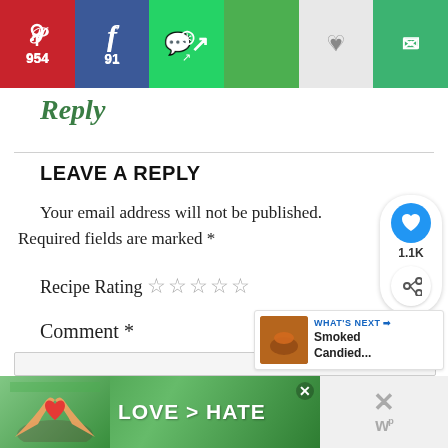[Figure (screenshot): Social share bar with Pinterest (954), Facebook (91), WhatsApp, share, heart, and email buttons]
Reply
LEAVE A REPLY
Your email address will not be published. Required fields are marked *
Recipe Rating ☆☆☆☆☆
Comment *
[Figure (screenshot): Floating heart widget with 1.1K count and share button]
[Figure (screenshot): What's Next widget showing Smoked Candied...]
[Figure (other): Ad banner with LOVE > HATE text on green background with hands forming heart shape]